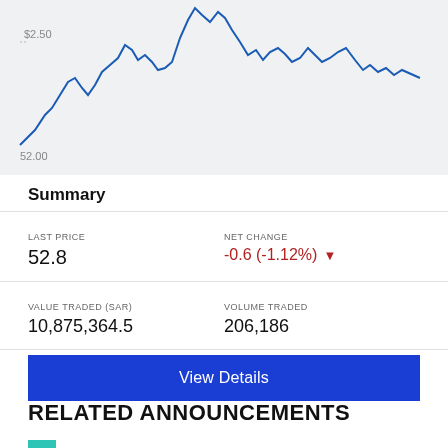[Figure (continuous-plot): Stock price line chart showing price movements, with a blue line on a light gray background. Y-axis shows $2.50 near top and 52.00 near bottom.]
Summary
| LAST PRICE | NET CHANGE |
| --- | --- |
| 52.8 | -0.6 (-1.12%) ▼ |
| VALUE TRADED (SAR) | VOLUME TRADED |
| --- | --- |
| 10,875,364.5 | 206,186 |
View Details
RELATED ANNOUNCEMENTS